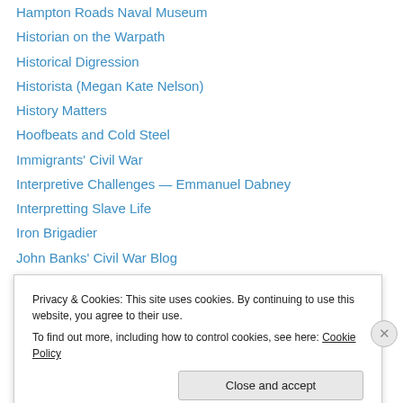Hampton Roads Naval Museum
Historian on the Warpath
Historical Digression
Historista (Megan Kate Nelson)
History Matters
Hoofbeats and Cold Steel
Immigrants' Civil War
Interpretive Challenges — Emmanuel Dabney
Interpretting Slave Life
Iron Brigadier
John Banks' Civil War Blog
Jubilo! Emancipation Century
Keith Harris history
Knoxville 1863, the Novel
Privacy & Cookies: This site uses cookies. By continuing to use this website, you agree to their use.
To find out more, including how to control cookies, see here: Cookie Policy
Close and accept